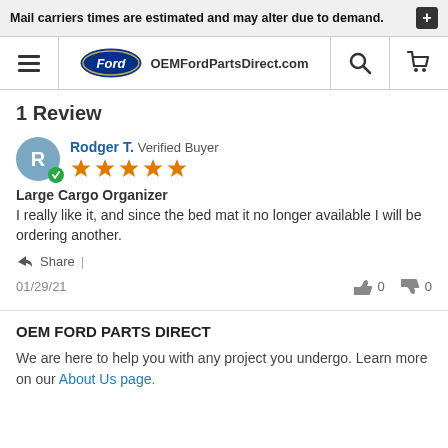Mail carriers times are estimated and may alter due to demand.
[Figure (logo): Ford oval logo with text OEMFordPartsDirect.com in the navigation bar]
1 Review
Rodger T. Verified Buyer — 5 stars — Large Cargo Organizer — I really like it, and since the bed mat it no longer available I will be ordering another. — Share | — 01/29/21 — thumbs up 0 thumbs down 0
OEM FORD PARTS DIRECT
We are here to help you with any project you undergo. Learn more on our About Us page.